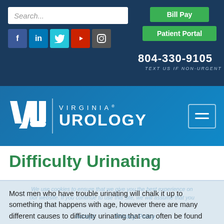[Figure (screenshot): Website header for Virginia Urology with search box, social media icons (Facebook, LinkedIn, Twitter, YouTube, Instagram), Bill Pay and Patient Portal green buttons, phone number 804-330-9105 with text 'TEXT US IF NON-URGENT']
[Figure (logo): Virginia Urology logo with stylized VU letters, vertical divider, and text reading 'VIRGINIA UROLOGY' with a hamburger menu icon]
Difficulty Urinating
Most men who have trouble urinating will chalk it up to something that happens with age, however there are many different causes to difficulty urinating that can often be found during a visit with one of our urologists, and can then be treated to help the problems resolve.